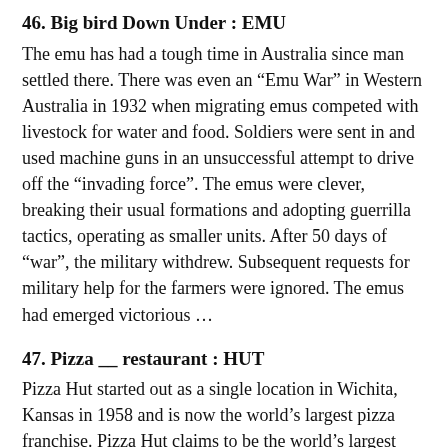46. Big bird Down Under : EMU
The emu has had a tough time in Australia since man settled there. There was even an “Emu War” in Western Australia in 1932 when migrating emus competed with livestock for water and food. Soldiers were sent in and used machine guns in an unsuccessful attempt to drive off the “invading force”. The emus were clever, breaking their usual formations and adopting guerrilla tactics, operating as smaller units. After 50 days of “war”, the military withdrew. Subsequent requests for military help for the farmers were ignored. The emus had emerged victorious …
47. Pizza __ restaurant : HUT
Pizza Hut started out as a single location in Wichita, Kansas in 1958 and is now the world’s largest pizza franchise. Pizza Hut claims to be the world’s largest user of cheese, consuming 300 million pounds every year. The chain buys 3% of the cheese produced in the US, which means that 170,000 American cows are producing milk for